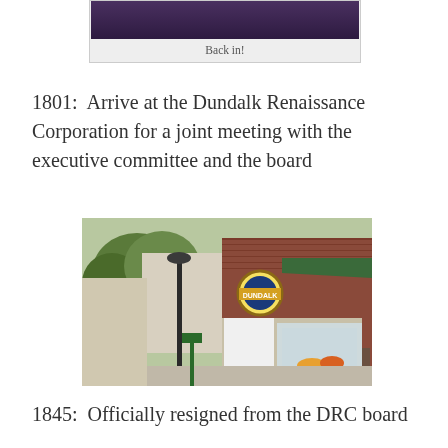[Figure (photo): Partial photo at top, dark purple/maroon background, bottom portion of an image visible]
Back in!
1801:  Arrive at the Dundalk Renaissance Corporation for a joint meeting with the executive committee and the board
[Figure (photo): Street-level photo of Dundalk town center showing brick storefronts, a street lamp, green awning, and a circular Dundalk sign]
1845:  Officially resigned from the DRC board